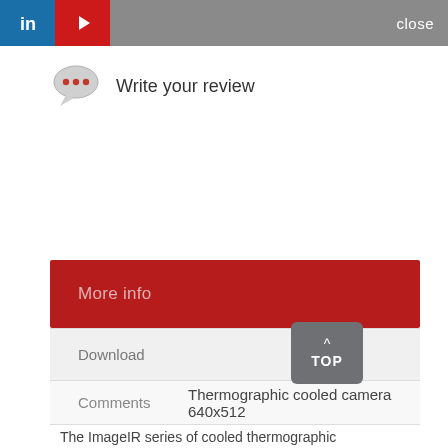close
Write your review
More info
Download
Comments   Thermographic cooled camera 640x512
The ImageIR series of cooled thermographic